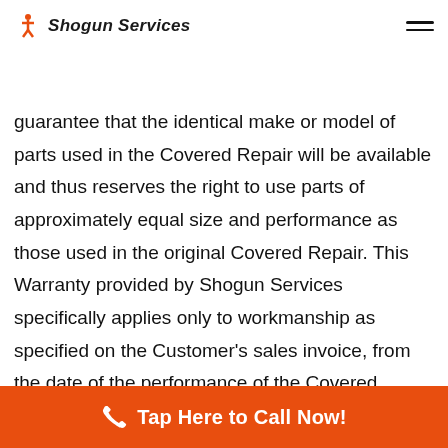Shogun Services
determines that the Covered Repair will be replaced under this Warranty, Shogun Services does not
guarantee that the identical make or model of parts used in the Covered Repair will be available and thus reserves the right to use parts of approximately equal size and performance as those used in the original Covered Repair. This Warranty provided by Shogun Services specifically applies only to workmanship as specified on the Customer's sales invoice, from the date of the performance of the Covered Repair, and terminates on the date that the Customer no longer owns the residence in which the Covered Repair/Replacement was performed or upon the replacement of the Unit that contains the Covered Repair, whichever occurs ea
Tap Here to Call Now!